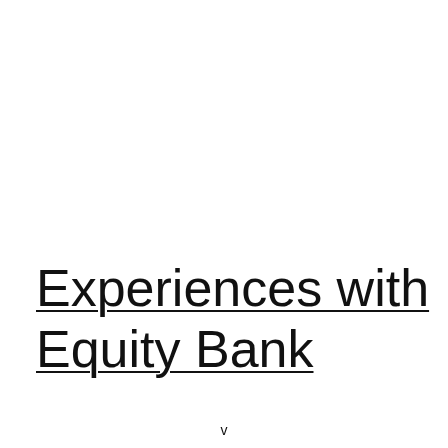Experiences with Equity Bank
v